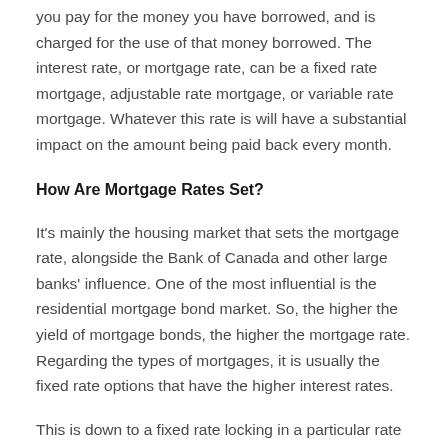you pay for the money you have borrowed, and is charged for the use of that money borrowed. The interest rate, or mortgage rate, can be a fixed rate mortgage, adjustable rate mortgage, or variable rate mortgage. Whatever this rate is will have a substantial impact on the amount being paid back every month.
How Are Mortgage Rates Set?
It's mainly the housing market that sets the mortgage rate, alongside the Bank of Canada and other large banks' influence. One of the most influential is the residential mortgage bond market. So, the higher the yield of mortgage bonds, the higher the mortgage rate. Regarding the types of mortgages, it is usually the fixed rate options that have the higher interest rates.
This is down to a fixed rate locking in a particular rate